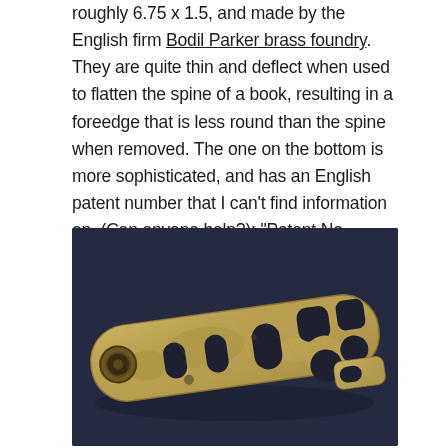roughly 6.75 x 1.5, and made by the English firm Bodil Parker brass foundry. They are quite thin and deflect when used to flatten the spine of a book, resulting in a foreedge that is less round than the spine when removed. The one on the bottom is more sophisticated, and has an English patent number that I can't find information on. (Can anyone help?): "Patent No 116972/17" The various curves around the edges fitting around brass buttons of various diameters. The legs of this one would make it very difficult to use in bookbinding.
[Figure (photo): Photograph of an antique brass bookbinding tool on a dark blue surface. The tool is a long rectangular brass plate with rounded ends, featuring multiple slots and curved cutouts of various sizes along its length, and a circular grommet/eyelet on the left end.]